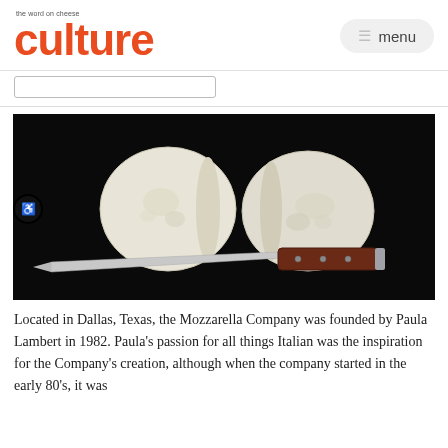culture the word on cheese
[Figure (photo): Two halves of a mozzarella ball and a knife with a dark wooden handle, arranged on a black background.]
Located in Dallas, Texas, the Mozzarella Company was founded by Paula Lambert in 1982. Paula's passion for all things Italian was the inspiration for the Company's creation, although when the company started in the early 80's, it was